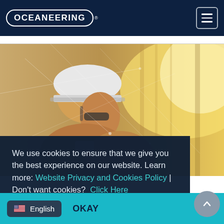OCEANEERING®
[Figure (photo): Worker wearing a white hard hat and safety glasses looking upward to the right, with industrial facility background and warm golden light on the right side, overlaid with faint white network/connectivity lines]
We use cookies to ensure that we give you the best experience on our website. Learn more: Website Privacy and Cookies Policy | Don't want cookies?  Click Here
🇺🇸 English
OKAY